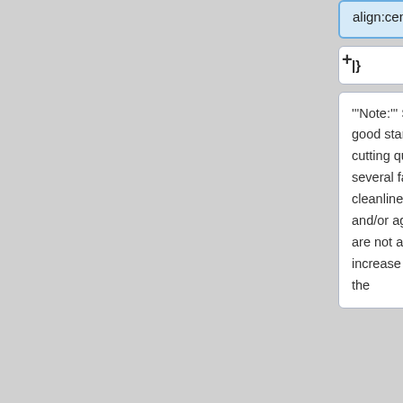|style="text-align:center;"|
|style="text-align:center;"|
|}
|}
'''Note:''' Settings above are a good starting point. Laser cutting quality is affected by several factors including lens cleanliness, maintenance and/or aging laser tube. If you are not achieveing a cut, try to increase the power, decrease the
'''Note:''' Settings above are a good starting point. Laser cutting quality is affected by several factors including lens cleanliness, maintenance and/or aging laser tube. If you are not achieveing a cut, try to increase the power, decrease the